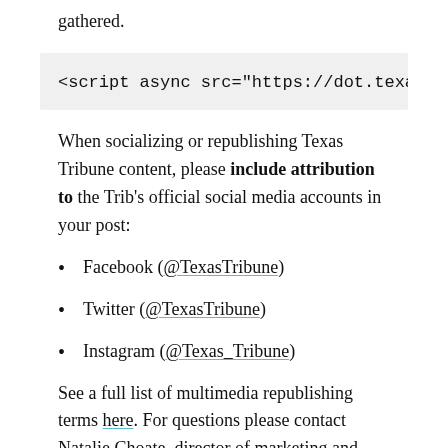gathered.
<script async src="https://dot.texastribu
When socializing or republishing Texas Tribune content, please include attribution to the Trib's official social media accounts in your post:
Facebook (@TexasTribune)
Twitter (@TexasTribune)
Instagram (@Texas_Tribune)
See a full list of multimedia republishing terms here. For questions please contact Natalie Choate, director of marketing and communications, at nchoate@texastribune.org.